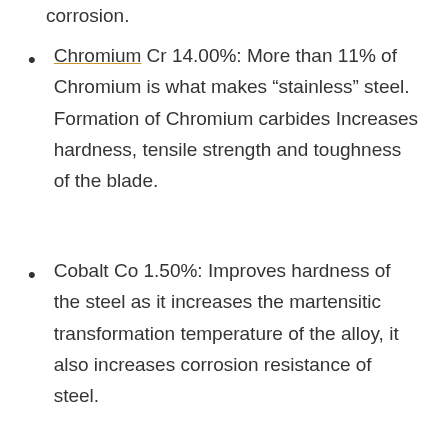corrosion.
Chromium Cr 14.00%: More than 11% of Chromium is what makes “stainless” steel. Formation of Chromium carbides Increases hardness, tensile strength and toughness of the blade.
Cobalt Co 1.50%: Improves hardness of the steel as it increases the martensitic transformation temperature of the alloy, it also increases corrosion resistance of steel.